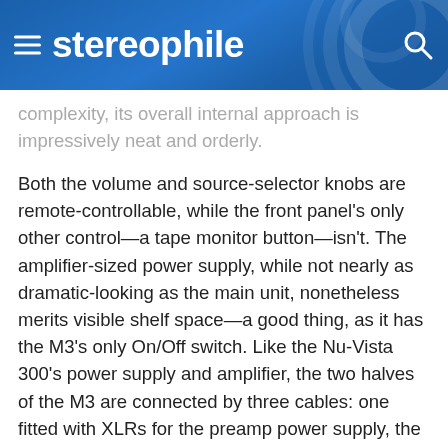stereophile
complexity, its overall internal approach is impressively neat and orderly.
Both the volume and source-selector knobs are remote-controllable, while the front panel's only other control—a tape monitor button—isn't. The amplifier-sized power supply, while not nearly as dramatic-looking as the main unit, nonetheless merits visible shelf space—a good thing, as it has the M3's only On/Off switch. Like the Nu-Vista 300's power supply and amplifier, the two halves of the M3 are connected by three cables: one fitted with XLRs for the preamp power supply, the other two fitted with Neutrik power connectors for the juice.